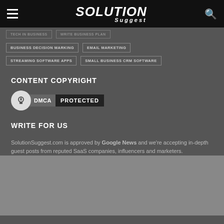Solution Suggest
BUSINESS DECISION MARKING
EMAIL MARKETING
STREAMING SOFTWARE APPS
SMALL BUSINESS CRM SOFTWARE
CONTENT COPYRIGHT
[Figure (logo): DMCA Protected badge with lock icon, DMCA label in grey box, and PROTECTED text in dark box]
WRITE FOR US
SolutionSuggest.com is approved by Google News and we're accepting in-depth guest posts from reputed SaaS companies, influencers and marketers.